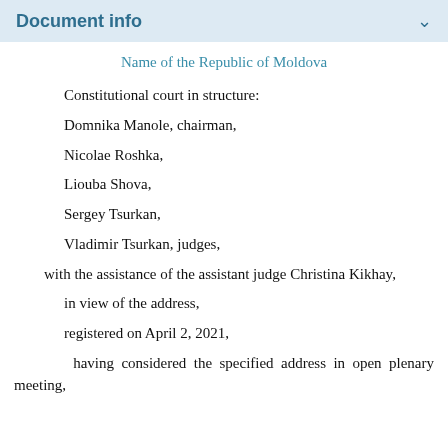Document info
Name of the Republic of Moldova
Constitutional court in structure:
Domnika Manole, chairman,
Nicolae Roshka,
Liouba Shova,
Sergey Tsurkan,
Vladimir Tsurkan, judges,
with the assistance of the assistant judge Christina Kikhay,
in view of the address,
registered on April 2, 2021,
having considered the specified address in open plenary meeting,